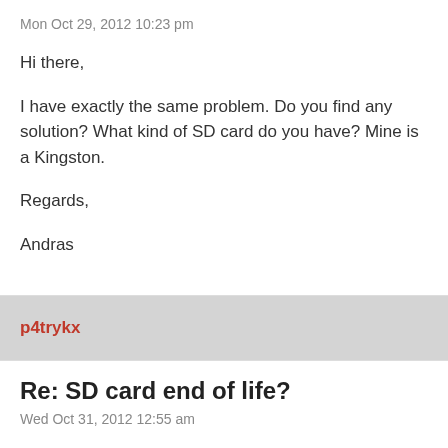Mon Oct 29, 2012 10:23 pm
Hi there,

I have exactly the same problem. Do you find any solution? What kind of SD card do you have? Mine is a Kingston.

Regards,

Andras
p4trykx
Re: SD card end of life?
Wed Oct 31, 2012 12:55 am
I returned it to the shop. In two weeks I'll know their response if